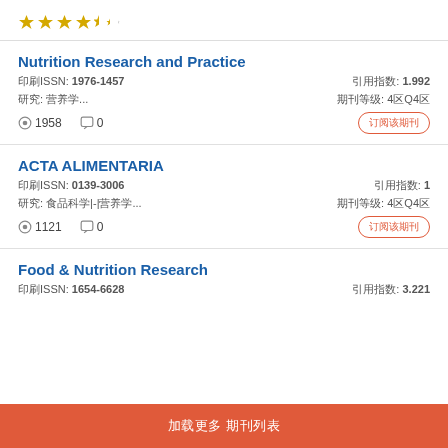★★★★½ (rating stars)
Nutrition Research and Practice
印刷ISSN: 1976-1457   引用指数: 1.992
研究: 营养学...   期刊等级: 4区Q4区
1958 views  0 comments  [订阅该期刊 button]
ACTA ALIMENTARIA
印刷ISSN: 0139-3006   引用指数: 1
研究: 食品科学|-|营养学...   期刊等级: 4区Q4区
1121 views  0 comments  [订阅该期刊 button]
Food & Nutrition Research
印刷ISSN: 1654-6628   引用指数: 3.221
加载更多期刊